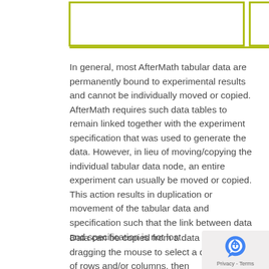[Figure (other): Partial view of two green-bordered boxes at the top of the page, part of a diagram or UI mockup]
In general, most AfterMath tabular data are permanently bound to experimental results and cannot be individually moved or copied.  AfterMath requires such data tables to remain linked together with the experiment specification that was used to generate the data.  However, in lieu of moving/copying the individual tabular data node, an entire experiment can usually be moved or copied.  This action results in duplication or movement of the tabular data and specification such that the link between data and specification is not lost.
Data can be copied from a data tabl... simply dragging the mouse to select a desired set of rows and/or columns, then